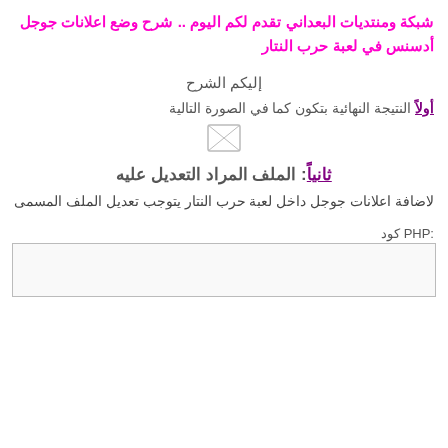شبكة ومنتديات البعداني تقدم لكم اليوم .. شرح وضع اعلانات جوجل أدسنس في لعبة حرب النتار
إليكم الشرح
أولاً النتيجة النهائية بتكون كما في الصورة التالية
[Figure (other): Small placeholder image box]
ثانياً: الملف المراد التعديل عليه
لاضافة اعلانات جوجل داخل لعبة حرب النتار يتوجب تعديل الملف المسمى
كود PHP: